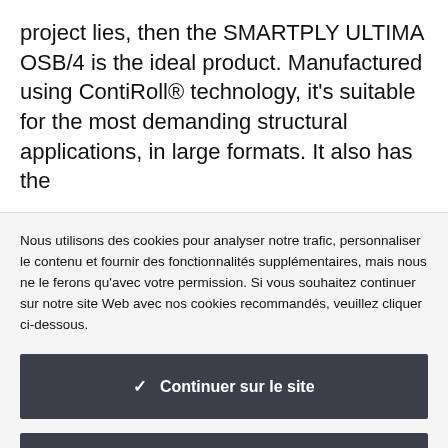project lies, then the SMARTPLY ULTIMA OSB/4 is the ideal product. Manufactured using ContiRoll® technology, it's suitable for the most demanding structural applications, in large formats. It also has the
Nous utilisons des cookies pour analyser notre trafic, personnaliser le contenu et fournir des fonctionnalités supplémentaires, mais nous ne le ferons qu'avec votre permission. Si vous souhaitez continuer sur notre site Web avec nos cookies recommandés, veuillez cliquer ci-dessous.
✓  Continuer sur le site
Lire les détails de nos cookies et contrôles granulaires